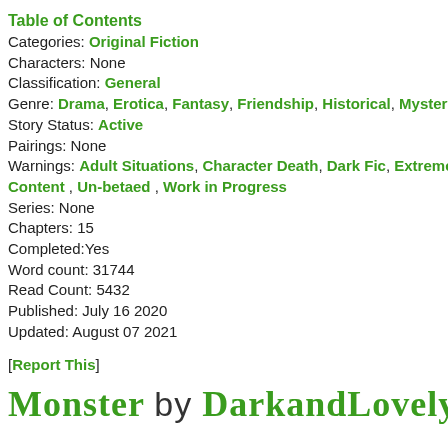Table of Contents
Categories: Original Fiction
Characters: None
Classification: General
Genre: Drama, Erotica, Fantasy, Friendship, Historical, Mystery,
Story Status: Active
Pairings: None
Warnings: Adult Situations, Character Death, Dark Fic, Extreme Content , Un-betaed , Work in Progress
Series: None
Chapters: 15
Completed:Yes
Word count: 31744
Read Count: 5432
Published: July 16 2020
Updated: August 07 2021
[Report This]
Monster by DarkandLovely